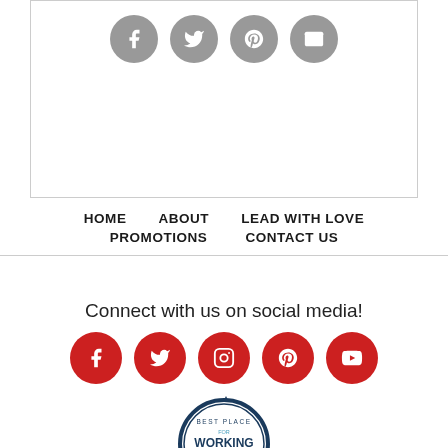[Figure (screenshot): Gray social media icon buttons for Facebook, Twitter, Pinterest, and Email inside a bordered box at the top of the page]
HOME   ABOUT   LEAD WITH LOVE   PROMOTIONS   CONTACT US
Connect with us on social media!
[Figure (illustration): Red circular social media icons for Facebook, Twitter, Instagram, Pinterest, and YouTube]
[Figure (logo): Best Place for Working Parents 2022 badge/seal with dark blue border, gold ribbon at bottom]